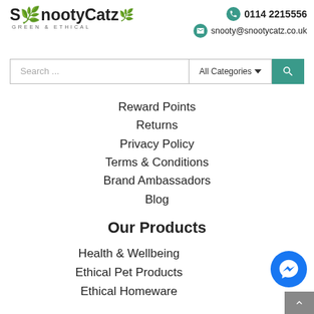[Figure (logo): SnootyCatz Green & Ethical logo with teal leaf accents]
0114 2215556
snooty@snootycatz.co.uk
Search ...
All Categories
Reward Points
Returns
Privacy Policy
Terms & Conditions
Brand Ambassadors
Blog
Our Products
Health & Wellbeing
Ethical Pet Products
Ethical Homeware